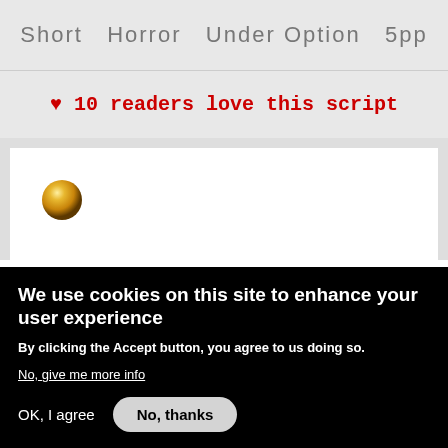Short Horror Under Option 5pp
❤ 10 readers love this script
[Figure (illustration): A gold/metallic sphere or ball on a white background, resembling a script preview thumbnail.]
We use cookies on this site to enhance your user experience
By clicking the Accept button, you agree to us doing so.
No, give me more info
OK, I agree   No, thanks